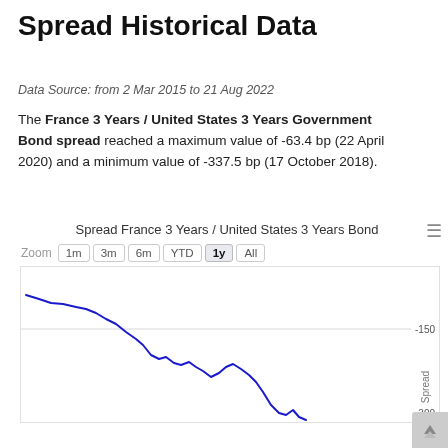Spread Historical Data
Data Source: from 2 Mar 2015 to 21 Aug 2022
The France 3 Years / United States 3 Years Government Bond spread reached a maximum value of -63.4 bp (22 April 2020) and a minimum value of -337.5 bp (17 October 2018).
[Figure (line-chart): Line chart showing the spread between France 3 Years and United States 3 Years Government Bond over 1 year period. The line starts around -80 bp, descends steeply to around -200 bp, partially recovers to around -175 bp, then falls sharply below -200 bp at the right edge. A horizontal gridline is visible at -150.]